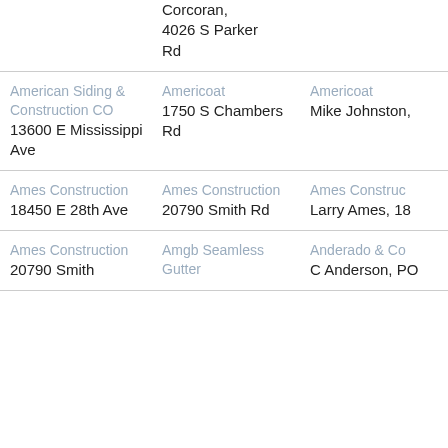| Column1 | Column2 | Column3 |
| --- | --- | --- |
|  | Corcoran, 4026 S Parker Rd |  |
| American Siding & Construction CO
13600 E Mississippi Ave | Americoat
1750 S Chambers Rd | Americoat
Mike Johnston, |
| Ames Construction
18450 E 28th Ave | Ames Construction
20790 Smith Rd | Ames Construc
Larry Ames, 18 |
| Ames Construction
20790 Smith | Amgb Seamless Gutter | Anderado & Co
C Anderson, PO |